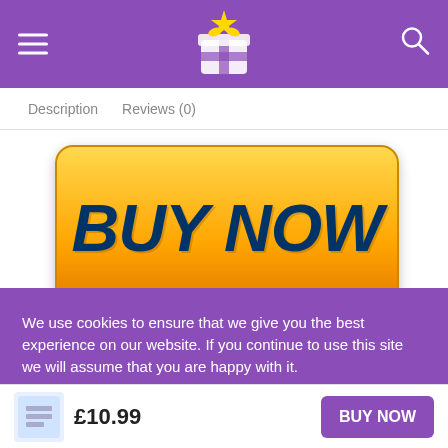Navigation header with hamburger menu, logo icon, and search icon on purple background
Description   Reviews (0)
[Figure (screenshot): Large yellow-orange gradient BUY NOW button with rounded corners and dark blue bold italic text]
[Figure (screenshot): Four payment method badges: VISA, MasterCard, AMEX, Discover Network]
We use cookies to ensure that we give you the best experience on our website. If you continue to use this site we will assume that you are happy with it.
Cookie Settings   Accept All
£10.99   BUY NOW